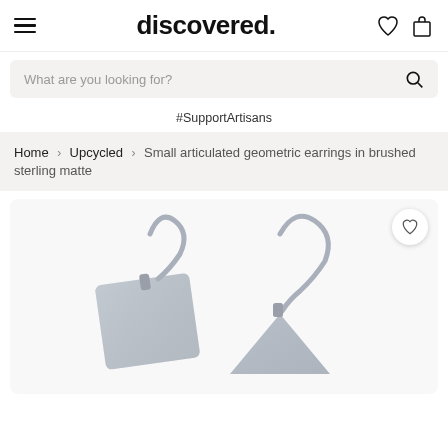discovered.
What are you looking for?
#SupportArtisans
Home > Upcycled > Small articulated geometric earrings in brushed sterling matte
[Figure (photo): Product photo of small articulated geometric earrings in brushed sterling matte — two silver earrings with geometric shapes (square and triangle) on wire hooks, shown close up against a white background.]